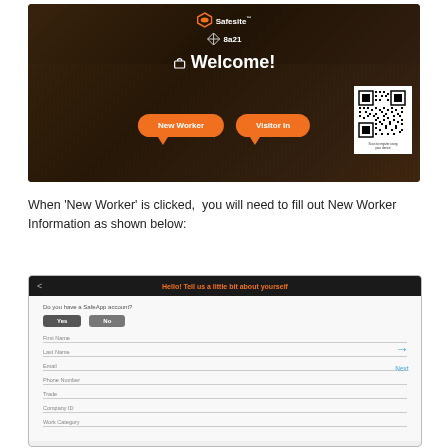[Figure (screenshot): Safesite app welcome screen showing construction site background, Safesite logo, company logo '8a21', Welcome! heading, 'New Worker' and 'Visitor In' orange buttons, and a QR code in the bottom right]
When 'New Worker' is clicked,  you will need to fill out New Worker Information as shown below:
[Figure (screenshot): Safesite app New Worker form screen with orange header 'Hello! Tell us a little bit about yourself', Yes/No buttons for 'Do you have a SafeApp account?', and form fields for First Name, Last Name, Email, Phone Number, Trade, Company ID, Work Category, with a Next arrow button]